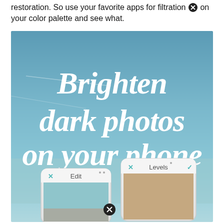restoration. So use your favorite apps for filtration on your color palette and see what.
[Figure (illustration): Promotional image with blue-sky background and text 'Brighten dark photos on your phone' in large bold white italic serif font. Shows two smartphone screens side by side at the bottom. Left phone shows an Edit screen, right phone shows a Levels screen. A close/X icon appears in the middle bottom area of the image.]